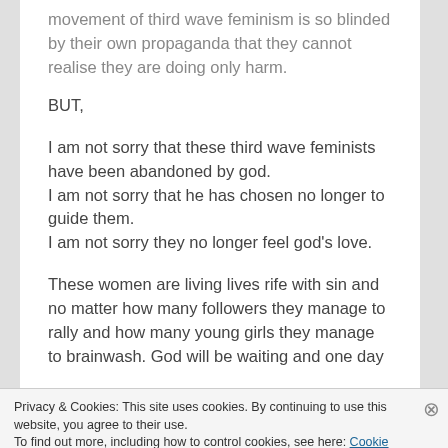movement of third wave feminism is so blinded by their own propaganda that they cannot realise they are doing only harm.
BUT,
I am not sorry that these third wave feminists have been abandoned by god.
I am not sorry that he has chosen no longer to guide them.
I am not sorry they no longer feel god's love.
These women are living lives rife with sin and no matter how many followers they manage to rally and how many young girls they manage to brainwash. God will be waiting and one day
Privacy & Cookies: This site uses cookies. By continuing to use this website, you agree to their use.
To find out more, including how to control cookies, see here: Cookie Policy
Close and accept